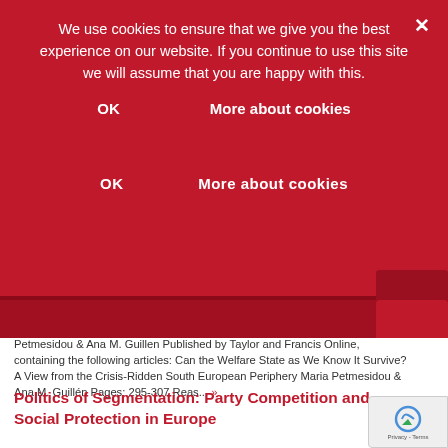We use cookies to ensure that we give you the best experience on our website. If you continue to use this site we will assume that you are happy with this.
OK   More about cookies
Petmesidou & Ana M. Guillen Published by Taylor and Francis Online, containing the following articles: Can the Welfare State as We Know It Survive? A View from the Crisis-Ridden South European Periphery Maria Petmesidou & Ana M. Guillén Pages: 295-307 Reas... »
Politics of Segmentation: Party Competition and Social Protection in Europe
21 August 2014
Policy
Dr Georg Picot's book, Politics of Segmentation: Party Competition and Social Protection in Europe, is now available in paperback from Routledge: Politics of Segmentation: Party Competition and Social Protection in Europe Summary: When political parties make policy decisions they are influenced by the competition they face from other parties. This book examines how party competition and part... »